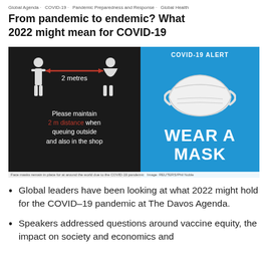Global Agenda · COVID-19 · Pandemic Preparedness and Response · Global Health
From pandemic to endemic? What 2022 might mean for COVID-19
[Figure (photo): Two COVID-19 public health signs. Left: social distancing sign showing two figures 2 metres apart with text 'Please maintain 2 m distance when queuing outside and also in the shop'. Right: Blue COVID-19 ALERT sign showing a face mask with 'WEAR A MASK'.]
Face masks remain in place for at around the world due to the COVID-19 pandemic  Image: REUTERS/Phil Noble
Global leaders have been looking at what 2022 might hold for the COVID-19 pandemic at The Davos Agenda.
Speakers addressed questions around vaccine equity, the impact on society and economics and